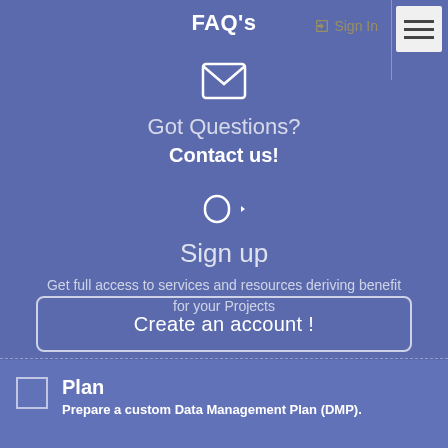FAQ's
Got Questions?
Contact us!
Sign up
Get full access to services and resources deriving benefit for your Projects
Create an account !
Plan
Prepare a custom Data Management Plan (DMP).